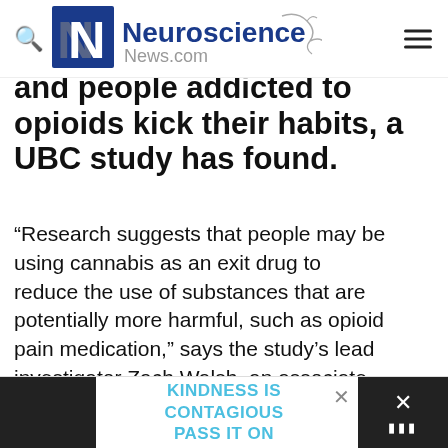Neuroscience News.com
and people addicted to opioids kick their habits, a UBC study has found.
“Research suggests that people may be using cannabis as an exit drug to reduce the use of substances that are potentially more harmful, such as opioid pain medication,” says the study’s lead investigator Zach Walsh, an associate professor of psychology at UBC’s Okanagan campus.
KINDNESS IS CONTAGIOUS PASS IT ON